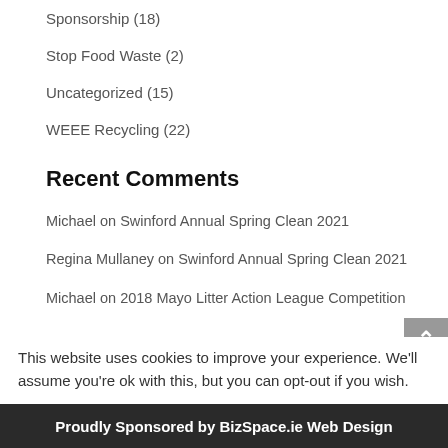Sponsorship (18)
Stop Food Waste (2)
Uncategorized (15)
WEEE Recycling (22)
Recent Comments
Michael on Swinford Annual Spring Clean 2021
Regina Mullaney on Swinford Annual Spring Clean 2021
Michael on 2018 Mayo Litter Action League Competition
Eileen on 2018 Mayo Litter Action League
This website uses cookies to improve your experience. We'll assume you're ok with this, but you can opt-out if you wish.
Proudly Sponsored by BizSpace.ie Web Design